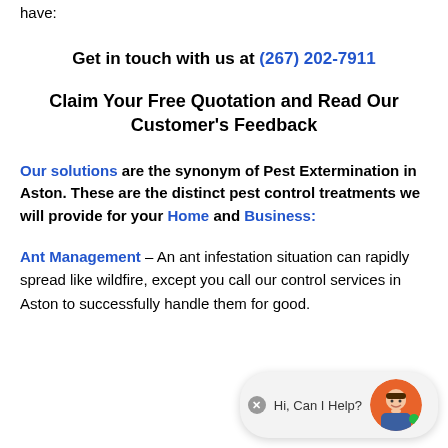have:
Get in touch with us at (267) 202-7911
Claim Your Free Quotation and Read Our Customer's Feedback
Our solutions are the synonym of Pest Extermination in Aston. These are the distinct pest control treatments we will provide for your Home and Business:
Ant Management – An ant infestation situation can rapidly spread like wildfire, except you call our control services in Aston to successfully handle them for good.